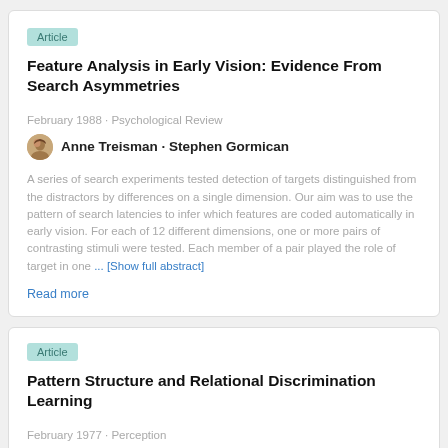Article
Feature Analysis in Early Vision: Evidence From Search Asymmetries
February 1988 · Psychological Review
Anne Treisman · Stephen Gormican
A series of search experiments tested detection of targets distinguished from the distractors by differences on a single dimension. Our aim was to use the pattern of search latencies to infer which features are coded automatically in early vision. For each of 12 different dimensions, one or more pairs of contrasting stimuli were tested. Each member of a pair played the role of target in one ... [Show full abstract]
Read more
Article
Pattern Structure and Relational Discrimination Learning
February 1977 · Perception